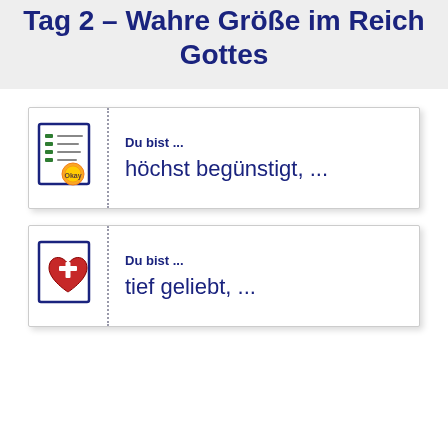Tag 2 – Wahre Größe im Reich Gottes
[Figure (illustration): Icon of a document/certificate with a gold seal badge]
Du bist ...
höchst begünstigt, ...
[Figure (illustration): Icon of a red heart with a cross on it]
Du bist ...
tief geliebt, ...